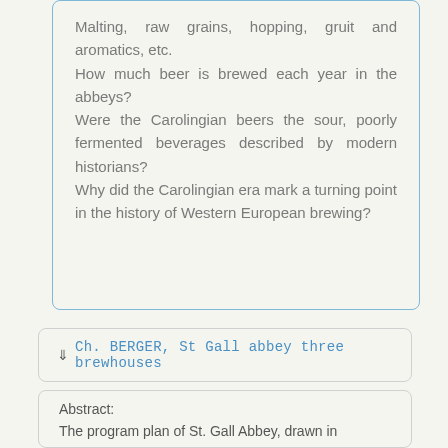Malting, raw grains, hopping, gruit and aromatics, etc.
How much beer is brewed each year in the abbeys?
Were the Carolingian beers the sour, poorly fermented beverages described by modern historians?
Why did the Carolingian era mark a turning point in the history of Western European brewing?
⇓ Ch. BERGER, St Gall abbey three brewhouses
Abstract:
The program plan of St. Gall Abbey, drawn in the year 820 is a starting point for studying the